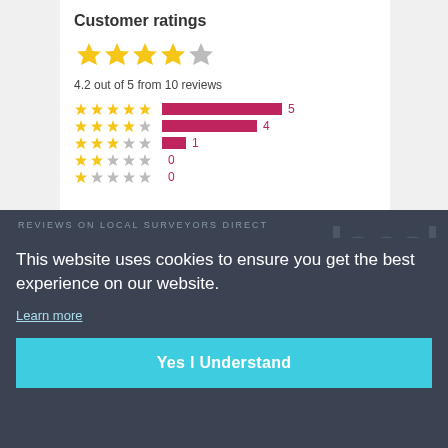Customer ratings
[Figure (other): Star rating display: 4 filled gold stars and 1 half/grey star]
4.2 out of 5 from 10 reviews
[Figure (bar-chart): Rating breakdown]
REVIEWS ON LOCAL SURVEYORS DIRECT
This website uses cookies to ensure you get the best experience on our website.
Learn more
Yes I Understand